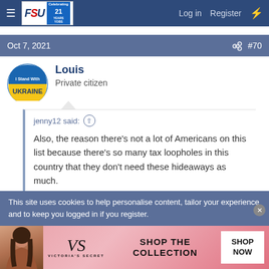FSU forum — Log in  Register
Oct 7, 2021  #70
Louis
Private citizen
jenny12 said: ↑

Also, the reason there's not a lot of Americans on this list because there's so many tax loopholes in this country that they don't need these hideaways as much.
This site uses cookies to help personalise content, tailor your experience and to keep you logged in if you register.